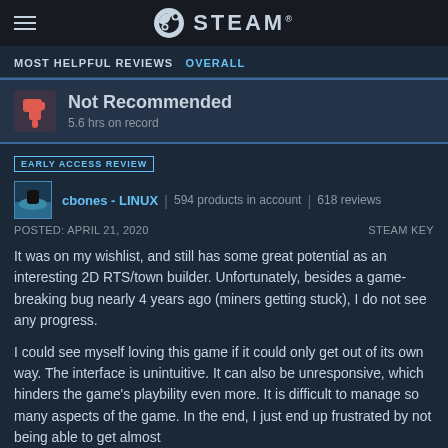STEAM
MOST HELPFUL REVIEWS OVERALL
Not Recommended
5.6 hrs on record
EARLY ACCESS REVIEW
cbones - LINUX | 594 products in account | 618 reviews
POSTED: APRIL 21, 2020    STEAM KEY
It was on my wishlist, and still has some great potential as an interesting 2D RTS/town builder. Unfortunately, besides a game-breaking bug nearly 4 years ago (miners getting stuck), I do not see any progress.

I could see myself loving this game if it could only get out of its own way. The interface is unintuitive. It can also be unresponsive, which hinders the game's playbility even more. It is difficult to manage so many aspects of the game. In the end, I just end up frustrated by not being able to get almost